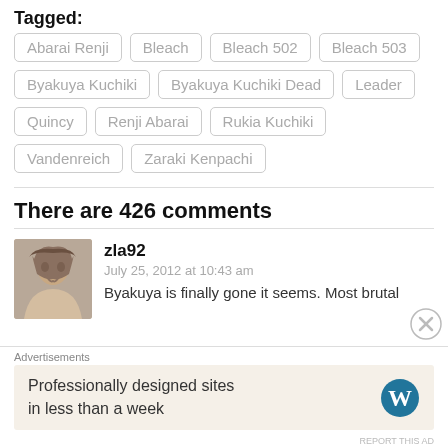Tagged: Abarai Renji, Bleach, Bleach 502, Bleach 503, Byakuya Kuchiki, Byakuya Kuchiki Dead, Leader, Quincy, Renji Abarai, Rukia Kuchiki, Vandenreich, Zaraki Kenpachi
There are 426 comments
zla92
July 25, 2012 at 10:43 am
Byakuya is finally gone it seems. Most brutal
Advertisements
Professionally designed sites in less than a week